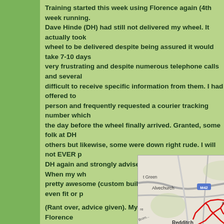Training started this week using Florence again (4th week running. Dave Hinde (DH) had still not delivered my wheel. It actually took wheel to be delivered despite being assured it would take 7-10 days very frustrating and despite numerous telephone calls and several difficult to receive specific information from them. I had offered to person and frequently requested a courier tracking number which the day before the wheel finally arrived. Granted, some folk at DH others but likewise, some were down right rude. I will not EVER p DH again and strongly advise no one else does either. When my wh pretty awesome (custom built and all) but DH did not even fit or p
(Rant over, advice given). My initial training rides using Florence first ride was with my buddy Ron who I had not cycled with for so
[Figure (map): A road map showing cycling route marked in red through areas including Alvechurch, Earlswood, Redditch, with motorways M42 and M40 visible.]